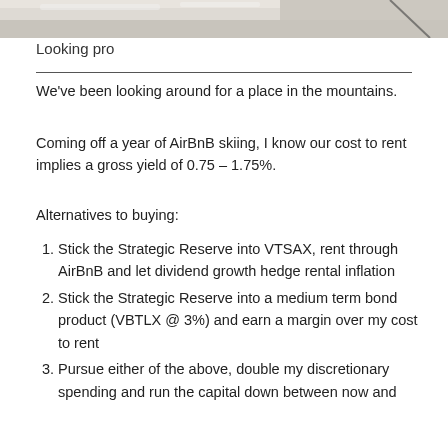[Figure (photo): Partial photo visible at top of page, appears to show a snowy or winter mountain scene]
Looking pro
We've been looking around for a place in the mountains.
Coming off a year of AirBnB skiing, I know our cost to rent implies a gross yield of 0.75 – 1.75%.
Alternatives to buying:
Stick the Strategic Reserve into VTSAX, rent through AirBnB and let dividend growth hedge rental inflation
Stick the Strategic Reserve into a medium term bond product (VBTLX @ 3%) and earn a margin over my cost to rent
Pursue either of the above, double my discretionary spending and run the capital down between now and